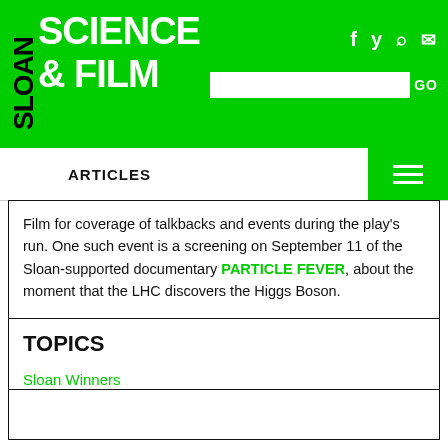SLOAN SCIENCE & FILM
ARTICLES
Film for coverage of talkbacks and events during the play's run. One such event is a screening on September 11 of the Sloan-supported documentary PARTICLE FEVER, about the moment that the LHC discovers the Higgs Boson.
TOPICS
Sloan Winners